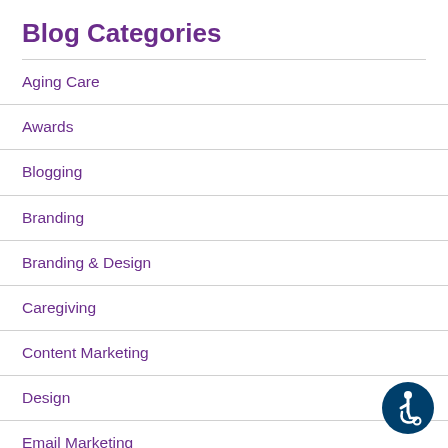Blog Categories
Aging Care
Awards
Blogging
Branding
Branding & Design
Caregiving
Content Marketing
Design
Email Marketing
Getting the Most from MOST
[Figure (illustration): Accessibility icon — person in wheelchair inside a dark blue circle]